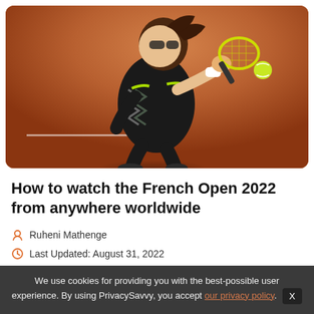[Figure (photo): Tennis player mid-swing on clay court, wearing black outfit with zigzag pattern, hitting a ball with a yellow racket, orange clay court background]
How to watch the French Open 2022 from anywhere worldwide
Ruheni Mathenge
Last Updated: August 31, 2022
We use cookies for providing you with the best-possible user experience. By using PrivacySavvy, you accept our privacy policy.